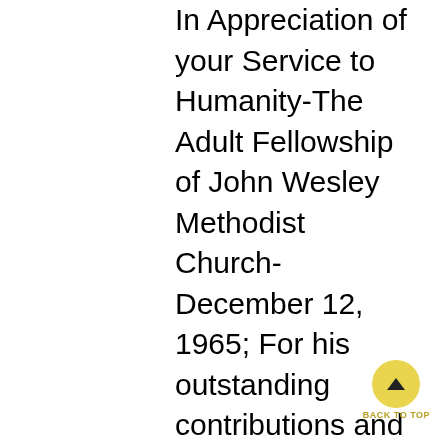In Appreciation of your Service to Humanity-The Adult Fellowship of John Wesley Methodist Church-December 12, 1965; For his outstanding contributions and service to the community of Baltimore-Harlem Park Junior Hi-Y-March 25, 1971; Key Award 1972-National Association of Black Manufactures; For his inspiration and dedication to our efforts-The Membership and Staff of the Federation of Southern Cooperatives-September, 1972; Humanitarian of the year award-Members Project #954 of Maryland Penitentiary-March 24, 1972: Commemoration of